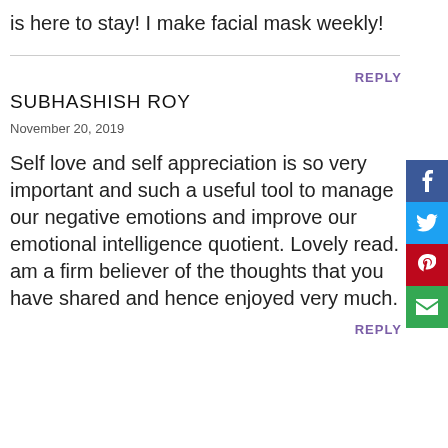is here to stay! I make facial mask weekly!
REPLY
SUBHASHISH ROY
November 20, 2019
Self love and self appreciation is so very important and such a useful tool to manage our negative emotions and improve our emotional intelligence quotient. Lovely read. I am a firm believer of the thoughts that you have shared and hence enjoyed very much.
REPLY